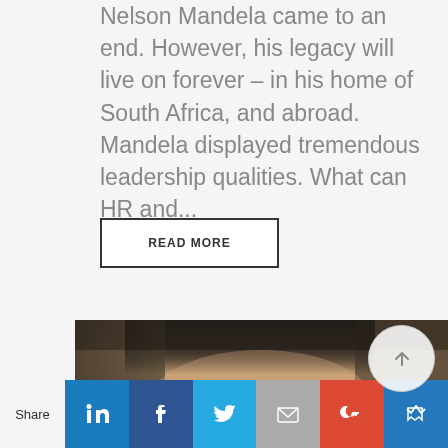Nelson Mandela came to an end. However, his legacy will live on forever – in his home of South Africa, and abroad. Mandela displayed tremendous leadership qualities. What can HR and...
READ MORE
[Figure (photo): Close-up photo of a person's face, partially visible — forehead and top of head with dark hair]
Share